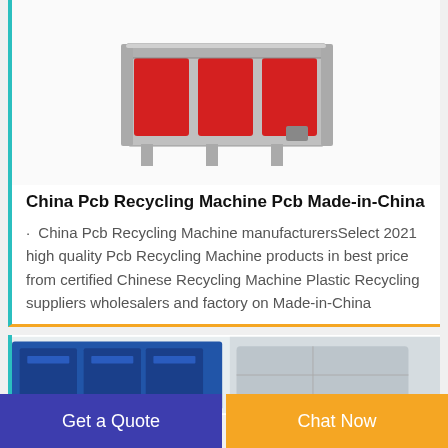[Figure (photo): Red PCB recycling machine with gray metal frame and legs]
China Pcb Recycling Machine Pcb Made-in-China
· China Pcb Recycling Machine manufacturersSelect 2021 high quality Pcb Recycling Machine products in best price from certified Chinese Recycling Machine Plastic Recycling suppliers wholesalers and factory on Made-in-China
[Figure (photo): Blue industrial recycling machine partial view]
Get a Quote
Chat Now